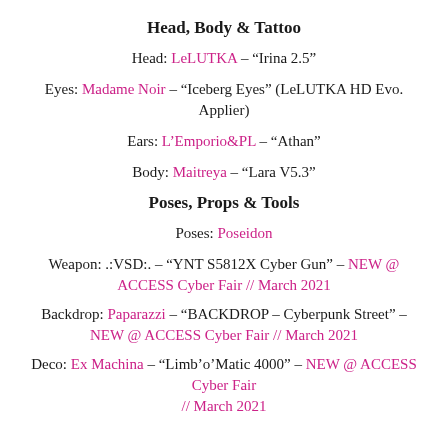Head, Body & Tattoo
Head: LeLUTKA – “Irina 2.5”
Eyes: Madame Noir – “Iceberg Eyes” (LeLUTKA HD Evo. Applier)
Ears: L’Emporio&PL – “Athan”
Body: Maitreya – “Lara V5.3”
Poses, Props & Tools
Poses: Poseidon
Weapon: .:VSD:. – “YNT S5812X Cyber Gun” – NEW @ ACCESS Cyber Fair // March 2021
Backdrop: Paparazzi – “BACKDROP – Cyberpunk Street” – NEW @ ACCESS Cyber Fair // March 2021
Deco: Ex Machina – “Limb’o’Matic 4000” – NEW @ ACCESS Cyber Fair // March 2021